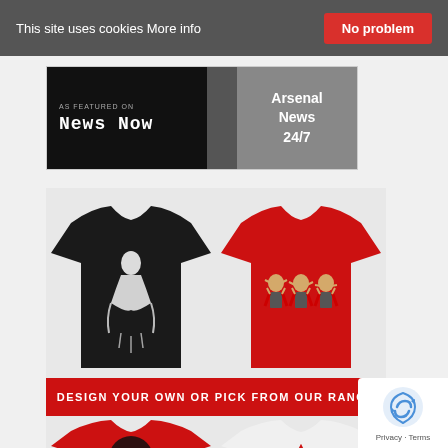This site uses cookies More info | No problem
[Figure (logo): News Now banner - AS FEATURED ON NEWS NOW, Arsenal News 24/7]
[Figure (photo): Black t-shirt with white graffiti-style figure print]
[Figure (photo): Red t-shirt with three cartoon figures covering eyes/ears/mouth]
DESIGN YOUR OWN OR PICK FROM OUR RANGE
[Figure (photo): Red t-shirt with black fist/eagle design]
[Figure (photo): White t-shirt with red/black design of a face]
[Figure (logo): reCAPTCHA Privacy - Terms badge]